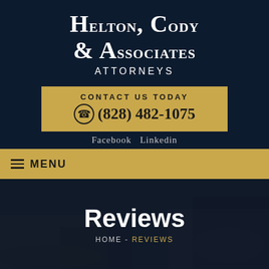Helton, Cody & Associates Attorneys
CONTACT US TODAY
(828) 482-1075
Facebook  Linkedin
MENU
Reviews
HOME - REVIEWS